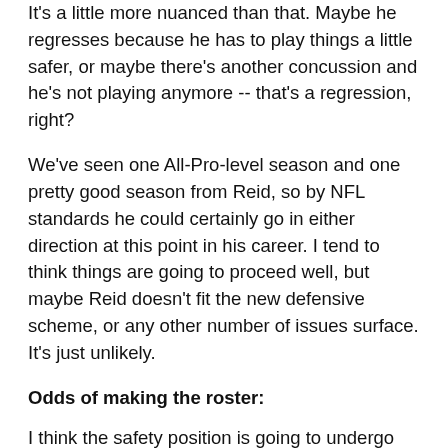It's a little more nuanced than that. Maybe he regresses because he has to play things a little safer, or maybe there's another concussion and he's not playing anymore -- that's a regression, right?
We've seen one All-Pro-level season and one pretty good season from Reid, so by NFL standards he could certainly go in either direction at this point in his career. I tend to think things are going to proceed well, but maybe Reid doesn't fit the new defensive scheme, or any other number of issues surface. It's just unlikely.
Odds of making the roster:
I think the safety position is going to undergo some pretty significant change in the near future. I don't know what to make of Jaquiski Tartt and I am even more uncertain when it comes to Jimmie Ward. One